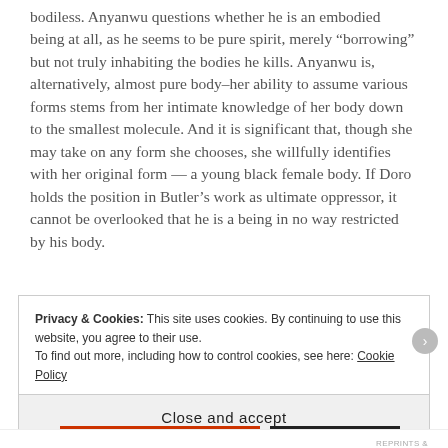bodiless. Anyanwu questions whether he is an embodied being at all, as he seems to be pure spirit, merely “borrowing” but not truly inhabiting the bodies he kills. Anyanwu is, alternatively, almost pure body–her ability to assume various forms stems from her intimate knowledge of her body down to the smallest molecule. And it is significant that, though she may take on any form she chooses, she willfully identifies with her original form — a young black female body. If Doro holds the position in Butler’s work as ultimate oppressor, it cannot be overlooked that he is a being in no way restricted by his body.
Privacy & Cookies: This site uses cookies. By continuing to use this website, you agree to their use. To find out more, including how to control cookies, see here: Cookie Policy
Close and accept